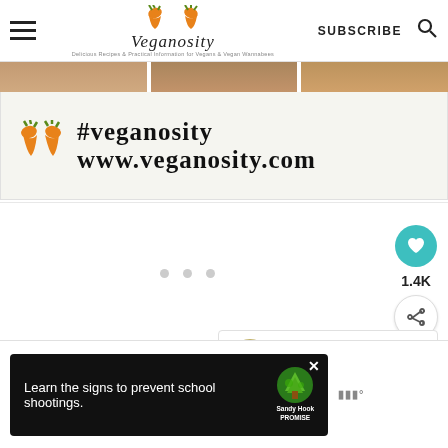Veganosity — SUBSCRIBE
[Figure (screenshot): Veganosity website banner showing #veganosity www.veganosity.com with carrot logo]
[Figure (infographic): White content area with carousel dots and floating action buttons: heart icon (1.4K), share icon]
[Figure (infographic): What's Next card: Vegan Garlic and Rosema...]
[Figure (screenshot): Advertisement: Learn the signs to prevent school shootings. Sandy Hook Promise.]